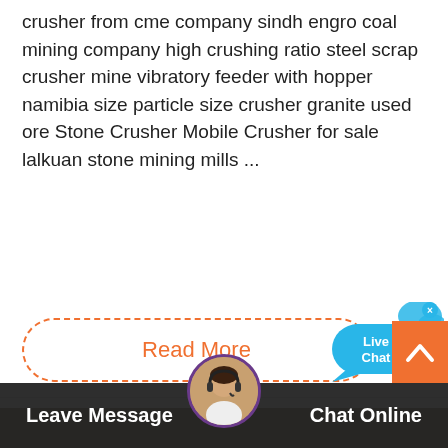crusher from cme company sindh engro coal mining company high crushing ratio steel scrap crusher mine vibratory feeder with hopper namibia size particle size crusher granite used ore Stone Crusher Mobile Crusher for sale lalkuan stone mining mills ...
[Figure (other): Read More button with dashed orange border]
[Figure (other): Live Chat speech bubble widget in blue]
[Figure (photo): Aerial view of a mining quarry/crusher site with roads, buildings, and mining equipment]
[Figure (other): Bottom bar with Leave Message, customer service avatar, Chat Online, and scroll-to-top orange button]